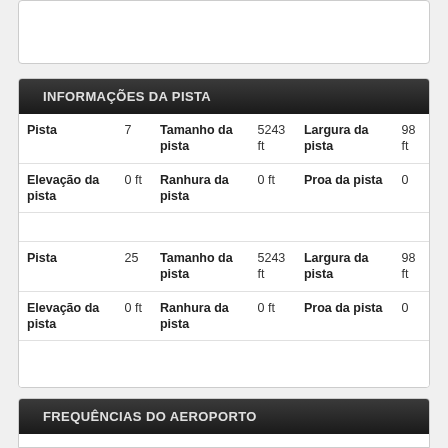INFORMAÇÕES DA PISTA
| Pista | 7 | Tamanho da pista | 5243 ft | Largura da pista | 98 ft |
| Elevação da pista | 0 ft | Ranhura da pista | 0 ft | Proa da pista | 0 |
| Pista | 25 | Tamanho da pista | 5243 ft | Largura da pista | 98 ft |
| Elevação da pista | 0 ft | Ranhura da pista | 0 ft | Proa da pista | 0 |
FREQUÊNCIAS DO AEROPORTO